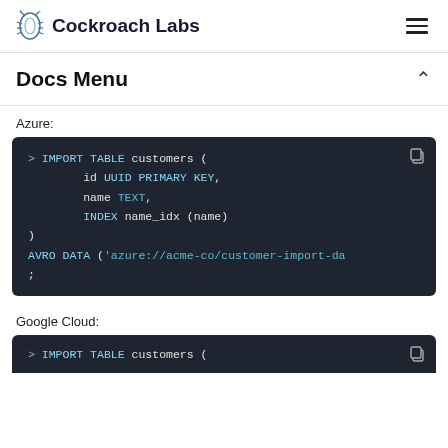Cockroach Labs
Docs Menu
Azure:
> IMPORT TABLE customers (
        id UUID PRIMARY KEY,
        name TEXT,
        INDEX name_idx (name)
)
AVRO DATA ('azure://acme-co/customer-import-da
;
Google Cloud:
> IMPORT TABLE customers (